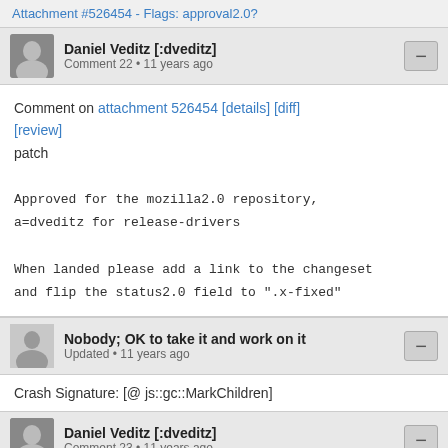Attachment #526454 - Flags: approval2.0?
Daniel Veditz [:dveditz]
Comment 22 • 11 years ago
Comment on attachment 526454 [details] [diff] [review]
patch

Approved for the mozilla2.0 repository,
a=dveditz for release-drivers

When landed please add a link to the changeset
and flip the status2.0 field to ".x-fixed"
Nobody; OK to take it and work on it
Updated • 11 years ago
Crash Signature: [@ js::gc::MarkChildren]
Daniel Veditz [:dveditz]
Comment 23 • 11 years ago